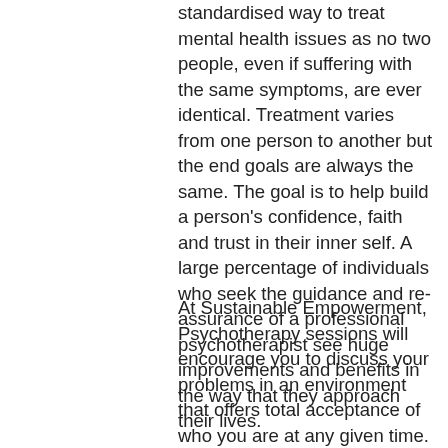standardised way to treat mental health issues as no two people, even if suffering with the same symptoms, are ever identical. Treatment varies from one person to another but the end goals are always the same. The goal is to help build a person's confidence, faith and trust in their inner self. A large percentage of individuals who seek the guidance and re-assurance of a professional psychotherapist see huge improvements and benefits in the way that they approach their lives.
At Sustainable Empowerment, Psychotherapy sessions will encourage you to discuss your problems in an environment that offers total acceptance of who you are at any given time. Each session, will help you to reach into your inner-self so that you can gain the strength you need to take the right steps forward empowering